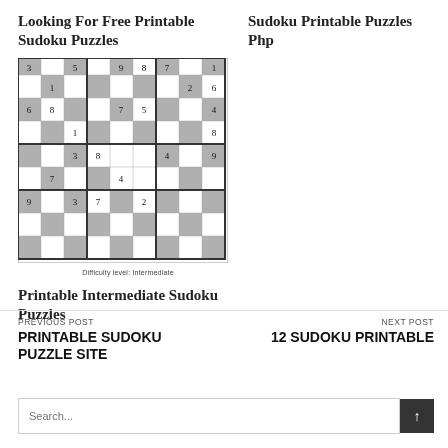Looking For Free Printable Sudoku Puzzles
Sudoku Printable Puzzles Php
[Figure (other): A partially filled sudoku puzzle grid with shaded and white cells, showing numbers in various positions. Labeled 'Difficulty level: Intermediate' at the bottom.]
Difficulty level: Intermediate
Printable Intermediate Sudoku Puzzles
PREVIOUS POST
PRINTABLE SUDOKU PUZZLE SITE
NEXT POST
12 SUDOKU PRINTABLE